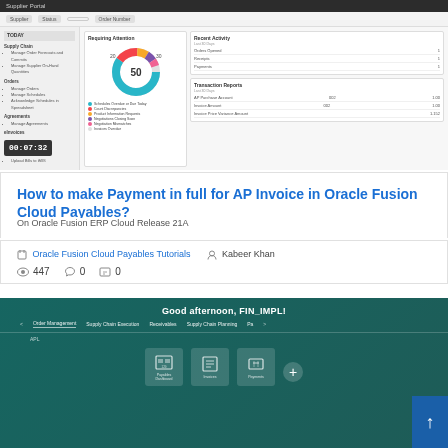[Figure (screenshot): Oracle Fusion Supplier Portal dashboard screenshot showing TODO panel on left with Supply Chain, Orders, Agreements sections, a donut chart labeled 'Requiring Attention' with 50 in center, and Recent Activity and Transaction Reports panels on right. Timer badge shows 00:07:32.]
How to make Payment in full for AP Invoice in Oracle Fusion Cloud Payables?
On Oracle Fusion ERP Cloud Release 21A
Oracle Fusion Cloud Payables Tutorials   Kabeer Khan
447   0   0
[Figure (screenshot): Oracle Fusion Cloud ERP dashboard screenshot showing 'Good afternoon, FIN_IMPL!' greeting header, navigation bar with Order Management, Supply Chain Execution, Receivables, Supply Chain Planning tabs, and tiles for Payables Dashboard, Invoices, Payments, plus a plus button. Blue scroll-to-top button visible on right.]